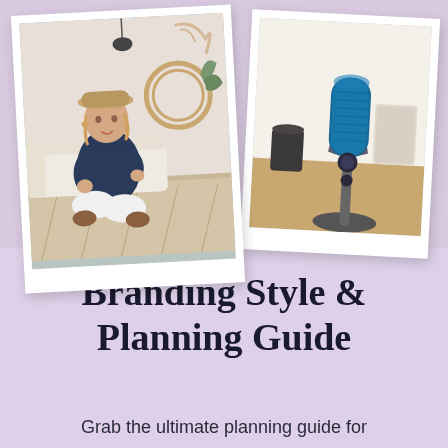[Figure (photo): Two overlapping polaroid-style photos on a lavender/purple background. Left photo: a woman with a tan hat sitting cross-legged on a rug, wearing a navy top and white pants, in a home setting. Right photo: a teal/blue studio microphone (Blue Yeti style) on a desk.]
Branding Style & Planning Guide
Grab the ultimate planning guide for